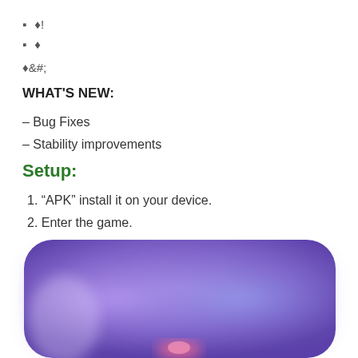◆!
◆
◆&#;
WHAT'S NEW:
– Bug Fixes
– Stability improvements
Setup:
1. "APK" install it on your device.
2. Enter the game.
[Figure (illustration): Blurred purple/blue rounded rectangle background with colorful game illustration at the bottom of the page]